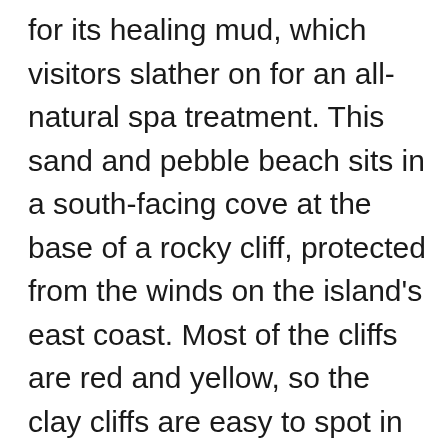for its healing mud, which visitors slather on for an all-natural spa treatment. This sand and pebble beach sits in a south-facing cove at the base of a rocky cliff, protected from the winds on the island's east coast. Most of the cliffs are red and yellow, so the clay cliffs are easy to spot in gray. Break off a chunk, mix the clay with seawater to make a mud mask, rub it all over, and let it dry. Jump in the sea and rinse off the mud for super smooth skin. Kalogeros is an unorganized beach without restaurants or bars, so plan to bring water and snacks. The closest bus stops are all about a 30-minute walk away in Marmara,